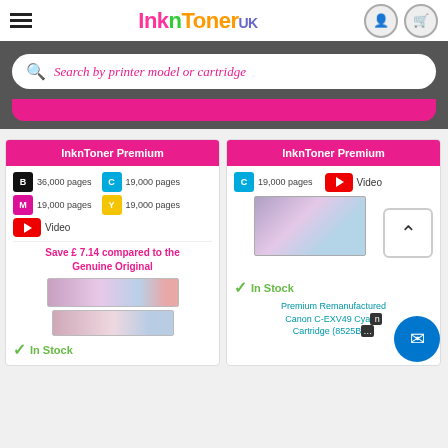InknToner UK - header with hamburger menu, logo, user and cart icons
Search by printer model or cartridge
[Figure (screenshot): InknToner Premium product cards showing toner cartridge products with color badges (B 36,000 pages, C 19,000 pages, M 19,000 pages, Y 19,000 pages), video button, Save £7.14 compared to the Genuine Original text, product images, In Stock status, and a second card showing C 19,000 pages, Video, product image, In Stock, Premium Remanufactured Canon C-EXV49 Cyan Cartridge (8525B)]
InknToner Premium
B 36,000 pages  C 19,000 pages  M 19,000 pages  Y 19,000 pages
Video
Save £ 7.14 compared to the Genuine Original
In Stock
InknToner Premium
C 19,000 pages   Video
In Stock
Premium Remanufactured Canon C-EXV49 Cyan Cartridge (8525B